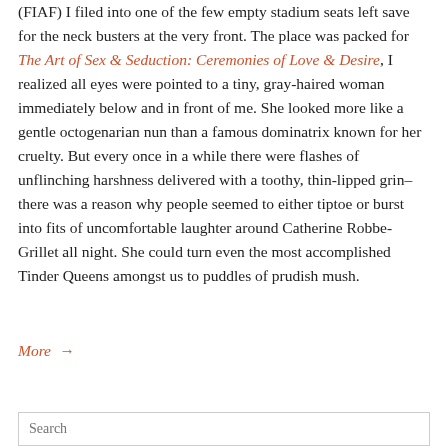(FIAF) I filed into one of the few empty stadium seats left save for the neck busters at the very front. The place was packed for The Art of Sex & Seduction: Ceremonies of Love & Desire, I realized all eyes were pointed to a tiny, gray-haired woman immediately below and in front of me. She looked more like a gentle octogenarian nun than a famous dominatrix known for her cruelty. But every once in a while there were flashes of unflinching harshness delivered with a toothy, thin-lipped grin–there was a reason why people seemed to either tiptoe or burst into fits of uncomfortable laughter around Catherine Robbe-Grillet all night. She could turn even the most accomplished Tinder Queens amongst us to puddles of prudish mush.
More →
Search